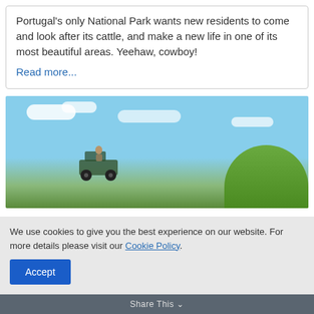Portugal's only National Park wants new residents to come and look after its cattle, and make a new life in one of its most beautiful areas. Yeehaw, cowboy!
Read more...
[Figure (photo): Photo of a person in a jeep/buggy vehicle under a bright blue sky with white clouds and green trees in the background]
We use cookies to give you the best experience on our website. For more details please visit our Cookie Policy.
Accept
Share This